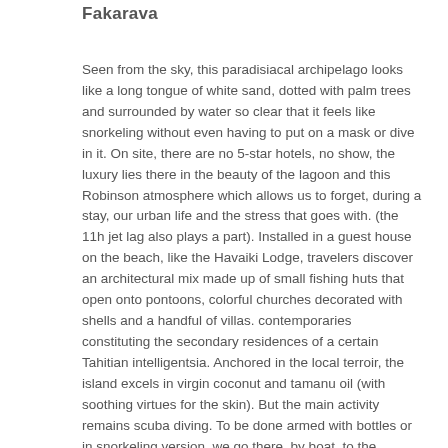Fakarava
Seen from the sky, this paradisiacal archipelago looks like a long tongue of white sand, dotted with palm trees and surrounded by water so clear that it feels like snorkeling without even having to put on a mask or dive in it. On site, there are no 5-star hotels, no show, the luxury lies there in the beauty of the lagoon and this Robinson atmosphere which allows us to forget, during a stay, our urban life and the stress that goes with. (the 11h jet lag also plays a part). Installed in a guest house on the beach, like the Havaiki Lodge, travelers discover an architectural mix made up of small fishing huts that open onto pontoons, colorful churches decorated with shells and a handful of villas. contemporaries constituting the secondary residences of a certain Tahitian intelligentsia. Anchored in the local terroir, the island excels in virgin coconut and tamanu oil (with soothing virtues for the skin). But the main activity remains scuba diving. To be done armed with bottles or in snorkeling version, we go there, by boat, to the southern tip, to admire the multicolored fish, corals, turtles, sharks… Before having lunch on the virgin islet of Teahatea Beach (famous for the pink color of its sand), marinated fish, coconut and fresh pineapple.